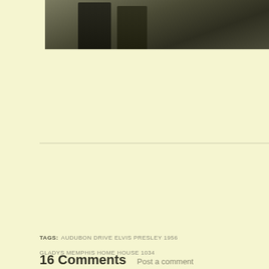[Figure (photo): Cropped photograph showing two people walking, partial view from waist down, wearing casual clothing, outdoors on a path or road with greenery in background]
TAGS: AUDUBON DRIVE ELVIS PRESLEY 1956 GLADYS MEMPHIS HOME HOUSE 1034
16 Comments  Post a comment
Judith #
Thanks Robert for another excellent in depth articl
April 19, 2018